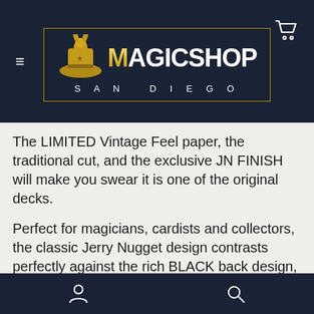[Figure (logo): Magic Shop San Diego logo: golden rabbit emerging from a magician's top hat, with gold border box. Text reads MAGIC SHOP in large white/gold font and SAN DIEGO in white spaced letters below.]
The LIMITED Vintage Feel paper, the traditional cut, and the exclusive JN FINISH will make you swear it is one of the original decks.
Perfect for magicians, cardists and collectors, the classic Jerry Nugget design contrasts perfectly against the rich BLACK back design, and the gilding is smooth, not clumpy.
laboration with Expert Playing Card (EPCC) and Jerry Nugget the Y...